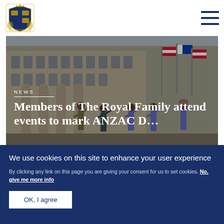Royal Family website header with coat of arms logo and hamburger menu
[Figure (photo): Military personnel and dignitaries saluting at an ANZAC Day ceremony outside a grand building with flags]
NEWS
Members of The Royal Family attend events to mark ANZAC Day
We use cookies on this site to enhance your user experience
By clicking any link on this page you are giving your consent for us to set cookies. No, give me more info
OK, I agree